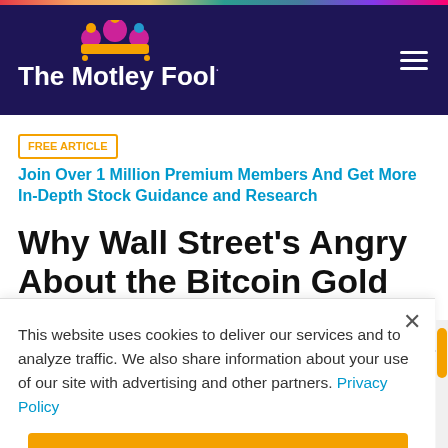The Motley Fool
FREE ARTICLE | Join Over 1 Million Premium Members And Get More In-Depth Stock Guidance and Research
Why Wall Street's Angry About the Bitcoin Gold Rush
This website uses cookies to deliver our services and to analyze traffic. We also share information about your use of our site with advertising and other partners. Privacy Policy
Got it
Cookie Settings